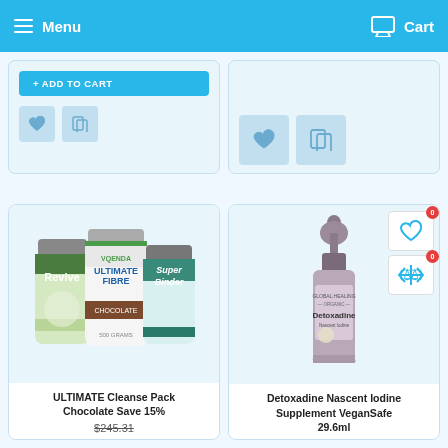Menu   Cart
[Figure (screenshot): Partial product card top-left with ADD TO CART button and heart/compare icons]
[Figure (screenshot): Partial product card top-right with heart and compare icons]
[Figure (photo): ULTIMATE Cleanse Pack Chocolate product — three supplement jars: Revive, QENDA Ultimate Fibre Chocolate, Super Binder]
ULTIMATE Cleanse Pack Chocolate Save 15%
$245.31
[Figure (photo): Detoxadine Nascent Iodine dropper bottle by Global Healing]
Detoxadine Nascent Iodine Supplement VeganSafe 29.6ml